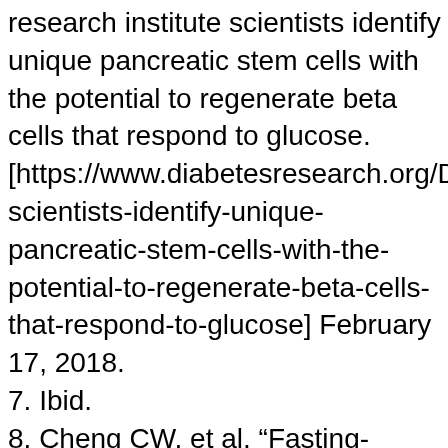research institute scientists identify unique pancreatic stem cells with the potential to regenerate beta cells that respond to glucose. [https://www.diabetesresearch.org/DRI-scientists-identify-unique-pancreatic-stem-cells-with-the-potential-to-regenerate-beta-cells-that-respond-to-glucose] February 17, 2018.
7. Ibid.
8. Cheng CW, et al. “Fasting-mimicking diet promotes Ngn3-driven β-cell regeneration to reverse diabetes.” Cell. 2017;168(5):775-788.
9. Ibid.